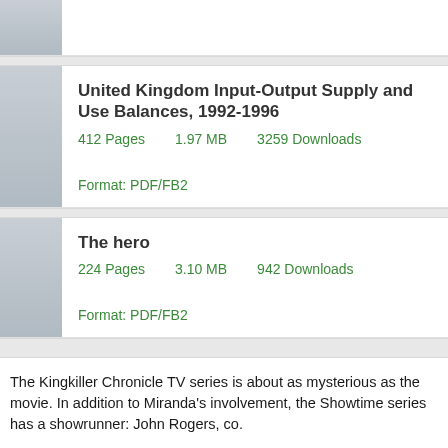United Kingdom Input-Output Supply and Use Balances, 1992-1996
412 Pages    1.97 MB    3259 Downloads    Format: PDF/FB2
The hero
224 Pages    3.10 MB    942 Downloads    Format: PDF/FB2
The Kingkiller Chronicle TV series is about as mysterious as the movie. In addition to Miranda's involvement, the Showtime series has a showrunner: John Rogers, co.
InNaked Wines took a loan from its customers in the form of a Wine Bond, offering 7 percent interest to people fronting the company money, or.